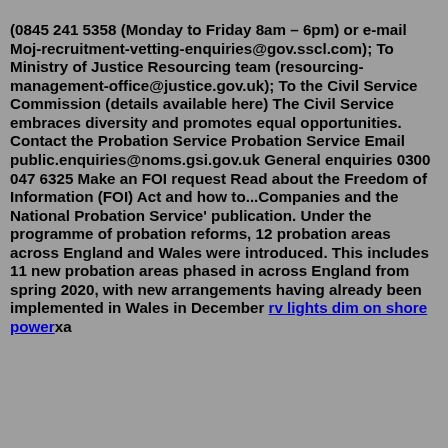(0845 241 5358 (Monday to Friday 8am – 6pm) or e-mail Moj-recruitment-vetting-enquiries@gov.sscl.com); To Ministry of Justice Resourcing team (resourcing-management-office@justice.gov.uk); To the Civil Service Commission (details available here) The Civil Service embraces diversity and promotes equal opportunities. Contact the Probation Service Probation Service Email public.enquiries@noms.gsi.gov.uk General enquiries 0300 047 6325 Make an FOI request Read about the Freedom of Information (FOI) Act and how to...Companies and the National Probation Service' publication. Under the programme of probation reforms, 12 probation areas across England and Wales were introduced. This includes 11 new probation areas phased in across England from spring 2020, with new arrangements having already been implemented in Wales in December rv lights dim on shore powerxa